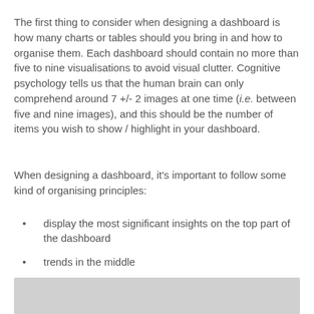The first thing to consider when designing a dashboard is how many charts or tables should you bring in and how to organise them. Each dashboard should contain no more than five to nine visualisations to avoid visual clutter. Cognitive psychology tells us that the human brain can only comprehend around 7 +/- 2 images at one time (i.e. between five and nine images), and this should be the number of items you wish to show / highlight in your dashboard.
When designing a dashboard, it's important to follow some kind of organising principles:
display the most significant insights on the top part of the dashboard
trends in the middle
granular details in the bottom.
You can also avoid visual clutter by using filters and hierarchies, or simply by separating the dashboard into two or more clearer dashboards.
[Figure (other): Gray placeholder box at the bottom of the page]